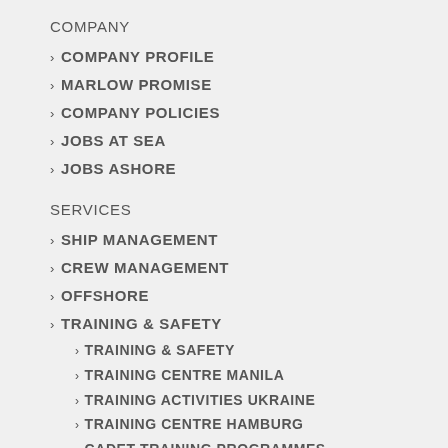COMPANY
> COMPANY PROFILE
> MARLOW PROMISE
> COMPANY POLICIES
> JOBS AT SEA
> JOBS ASHORE
SERVICES
> SHIP MANAGEMENT
> CREW MANAGEMENT
> OFFSHORE
> TRAINING & SAFETY
> TRAINING & SAFETY
> TRAINING CENTRE MANILA
> TRAINING ACTIVITIES UKRAINE
> TRAINING CENTRE HAMBURG
> CADET TRAINING PROGRAMMES
NEWS